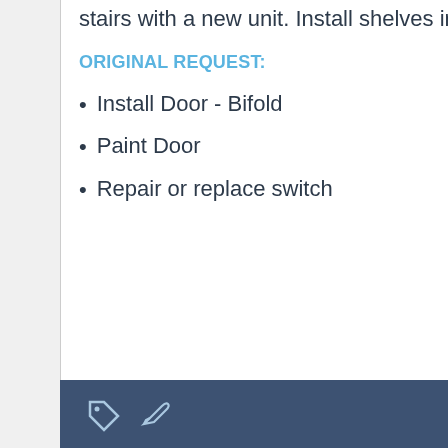Replace existing attic folding stairs with a new unit. Install shelves in closet
ORIGINAL REQUEST:
Install Door - Bifold
Paint Door
Repair or replace switch
80015